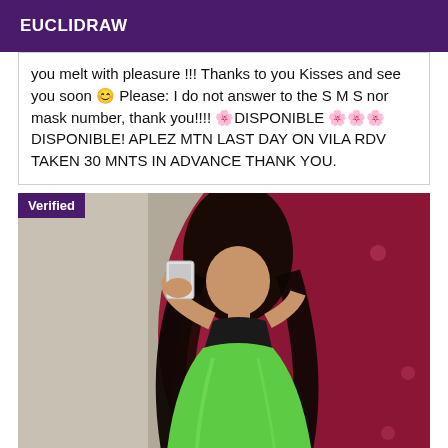EUCLIDRAW
you melt with pleasure !!! Thanks to you Kisses and see you soon 😊 Please: I do not answer to the S M S nor mask number, thank you!!!! 🌸DISPONIBLE 🌸🌸🌸DISPONIBLE! APLEZ MTN LAST DAY ON VILA RDV TAKEN 30 MNTS IN ADVANCE THANK YOU.
[Figure (photo): Young woman with long dark hair wearing a green dress, taking a selfie in a mirror. She is standing in front of a red/pink tufted chair. A 'Verified' badge appears in the top left corner of the photo.]